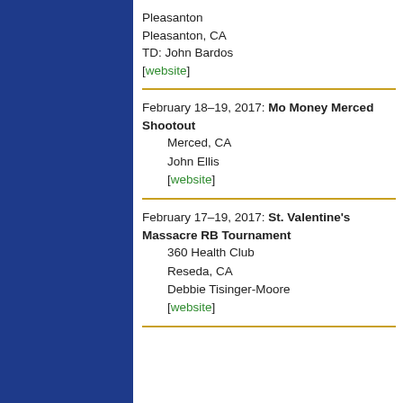Pleasanton
Pleasanton, CA
TD: John Bardos
[website]
February 18–19, 2017: Mo Money Merced Shootout
Merced, CA
John Ellis
[website]
February 17–19, 2017: St. Valentine's Massacre RB Tournament
360 Health Club
Reseda, CA
Debbie Tisinger-Moore
[website]